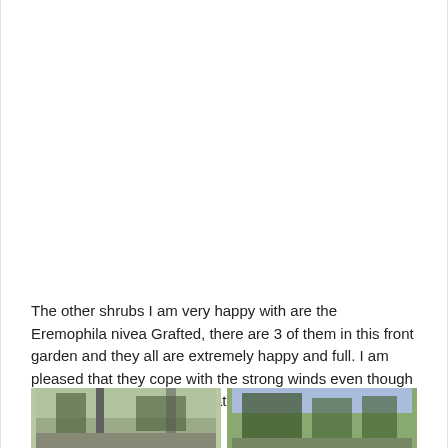The other shrubs I am very happy with are the Eremophila nivea Grafted, there are 3 of them in this front garden and they all are extremely happy and full. I am pleased that they cope with the strong winds even though they are grafted, I'm sure that the regular pruning helps.
[Figure (photo): Two outdoor garden photographs side by side showing trees/shrubs, partially visible at the bottom of the page.]